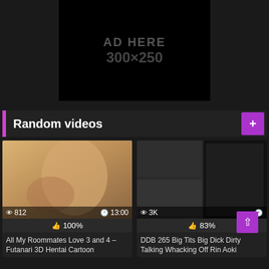[Figure (other): Ad placeholder banner, black background, text 'AD HERE' and '300×250']
Random videos
[Figure (other): Video thumbnail: 3D animated hentai cartoon, views: 812, duration: 13:00, likes: 100%]
All My Roommates Love 3 and 4 – Futanari 3D Hentai Cartoon
[Figure (other): Video thumbnail: DDB 265 Japanese DVD cover, views: 3K, likes: 83%]
DDB 265 Big Tits Big Dick Dirty Talking Whacking Off Rin Aoki